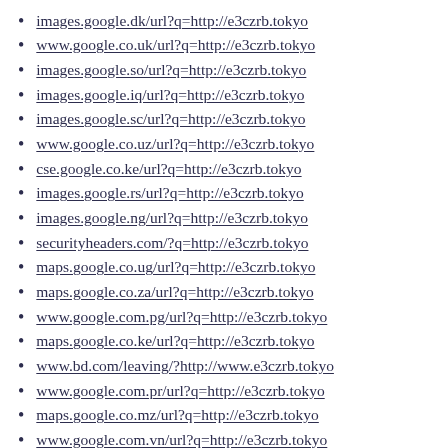images.google.dk/url?q=http://e3czrb.tokyo
www.google.co.uk/url?q=http://e3czrb.tokyo
images.google.so/url?q=http://e3czrb.tokyo
images.google.iq/url?q=http://e3czrb.tokyo
images.google.sc/url?q=http://e3czrb.tokyo
www.google.co.uz/url?q=http://e3czrb.tokyo
cse.google.co.ke/url?q=http://e3czrb.tokyo
images.google.rs/url?q=http://e3czrb.tokyo
images.google.ng/url?q=http://e3czrb.tokyo
securityheaders.com/?q=http://e3czrb.tokyo
maps.google.co.ug/url?q=http://e3czrb.tokyo
maps.google.co.za/url?q=http://e3czrb.tokyo
www.google.com.pg/url?q=http://e3czrb.tokyo
maps.google.co.ke/url?q=http://e3czrb.tokyo
www.bd.com/leaving/?http://www.e3czrb.tokyo
www.google.com.pr/url?q=http://e3czrb.tokyo
maps.google.co.mz/url?q=http://e3czrb.tokyo
www.google.com.vn/url?q=http://e3czrb.tokyo
www.schnettler.de/url?q=http://e3czrb.tokyo